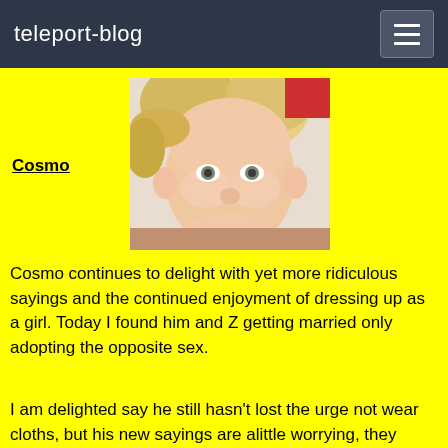teleport-blog
[Figure (photo): Close-up photo of a young blonde child looking at the camera, with a yellow background around the image.]
Cosmo
Cosmo continues to delight with yet more ridiculous sayings and the continued enjoyment of dressing up as a girl.  Today I found him and Z getting married only adopting the opposite sex.
I am delighted say he still hasn't lost the urge not wear cloths, but his new sayings are alittle worrying, they resemble more and more like